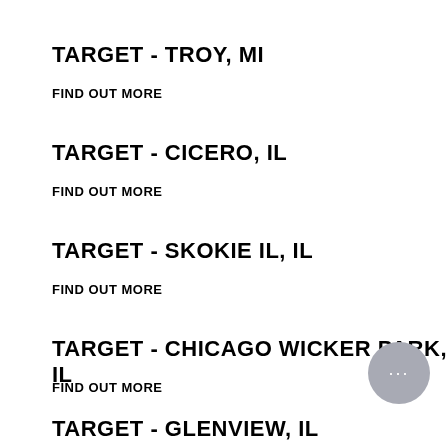TARGET - TROY, MI
FIND OUT MORE
TARGET - CICERO, IL
FIND OUT MORE
TARGET - SKOKIE IL, IL
FIND OUT MORE
TARGET - CHICAGO WICKER PARK, IL
FIND OUT MORE
TARGET - GLENVIEW, IL